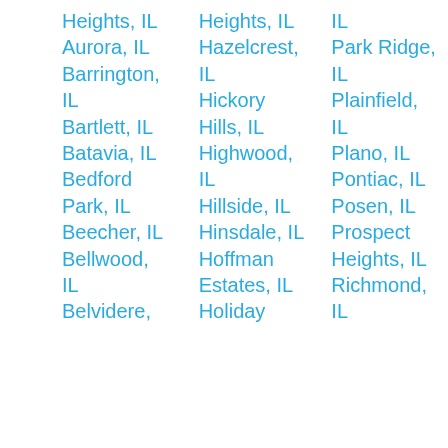Heights, IL
Aurora, IL
Barrington, IL
Bartlett, IL
Batavia, IL
Bedford Park, IL
Beecher, IL
Bellwood, IL
Belvidere,
Heights, IL
Hazelcrest, IL
Hickory Hills, IL
Highwood, IL
Hillside, IL
Hinsdale, IL
Hoffman Estates, IL
Holiday
IL
Park Ridge, IL
Plainfield, IL
Plano, IL
Pontiac, IL
Posen, IL
Prospect Heights, IL
Richmond, IL